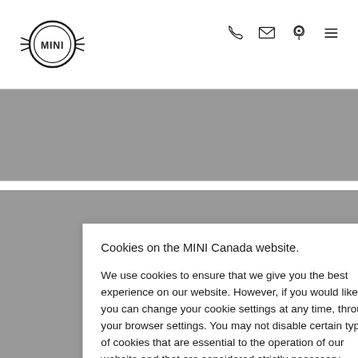[Figure (logo): MINI brand logo — circular emblem with wings and 'MINI' text]
[Figure (infographic): Navigation icons: phone, envelope/email, location pin, hamburger menu]
[Figure (photo): Gray banner image area (top)]
LIMITED CONTACT VEHICLE SERVICE
Cookies on the MINI Canada website.

We use cookies to ensure that we give you the best experience on our website. However, if you would like to, you can change your cookie settings at any time, through your browser settings. You may not disable certain types of cookies that are essential to the operation of our website and that are considered strictly necessary cookies. For example, we use strictly necessary cookies to provide you with regional pricing information. You can find detailed information about how cookies are used on this website by clicking here.